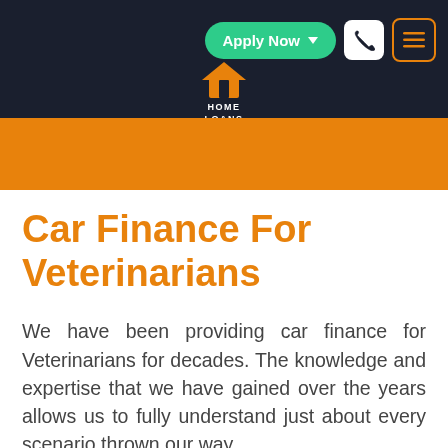Apply Now | [phone icon] | [menu icon]
[Figure (logo): Home Loans logo with orange house icon and text 'HOME LOANS' on dark background]
Car Finance For Veterinarians
We have been providing car finance for Veterinarians for decades. The knowledge and expertise that we have gained over the years allows us to fully understand just about every scenario thrown our way.